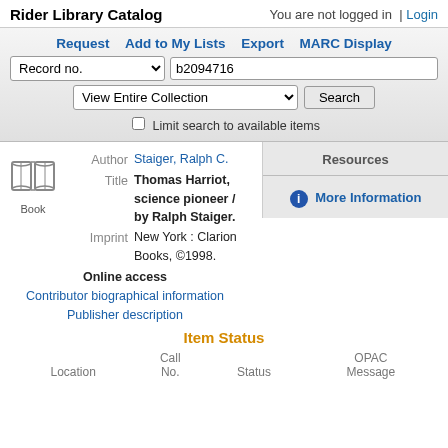Rider Library Catalog   You are not logged in  | Login
Request  Add to My Lists  Export  MARC Display
Record no.  b2094716  View Entire Collection  Search  Limit search to available items
Resources
More Information
Author Staiger, Ralph C.
Title Thomas Harriot, science pioneer / by Ralph Staiger.
Imprint New York : Clarion Books, ©1998.
Online access
Contributor biographical information
Publisher description
Item Status
| Location | Call No. | Status | OPAC Message |
| --- | --- | --- | --- |